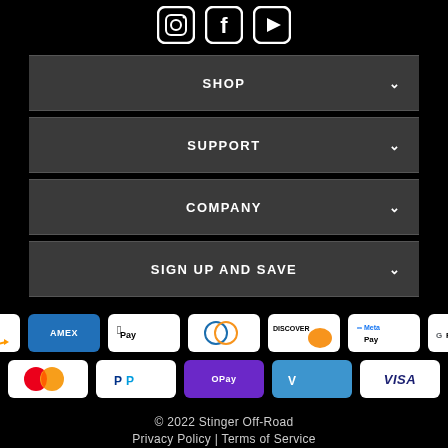[Figure (other): Social media icons: Instagram, Facebook, YouTube in white outline style]
SHOP
SUPPORT
COMPANY
SIGN UP AND SAVE
[Figure (other): Payment method logos: Amazon, AMEX, Apple Pay, Diners Club, Discover, Meta Pay, Google Pay, Mastercard, PayPal, OPay, Venmo, Visa]
© 2022 Stinger Off-Road
Privacy Policy | Terms of Service